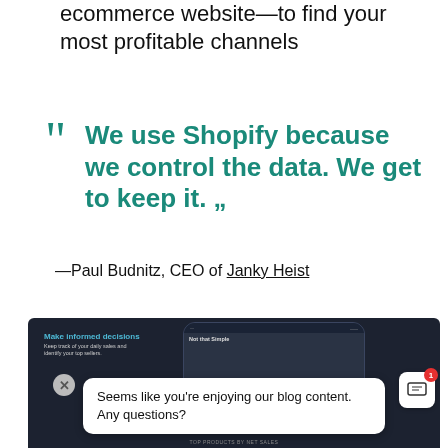ecommerce website—to find your most profitable channels
“ We use Shopify because we control the data. We get to keep it. „„
—Paul Budnitz, CEO of Janky Heist
[Figure (screenshot): Screenshot of a dark-themed dashboard app showing 'Make informed decisions' panel with a phone mockup, a chat popup saying 'Seems like you’re enjoying our blog content. Any questions?' with a close button and chat icon with badge showing 1.]